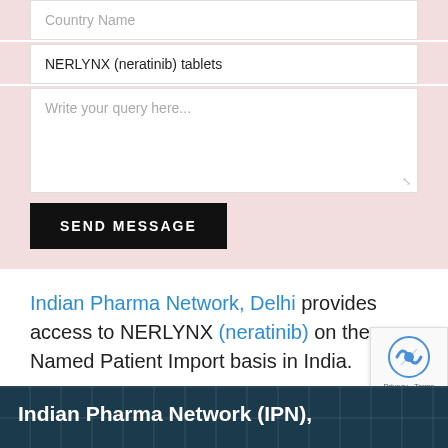Country Name
NERLYNX (neratinib) tablets
Write your query here...
SEND MESSAGE
Indian Pharma Network, Delhi provides access to NERLYNX (neratinib) on the Named Patient Import basis in India.
Indian Pharma Network (IPN),